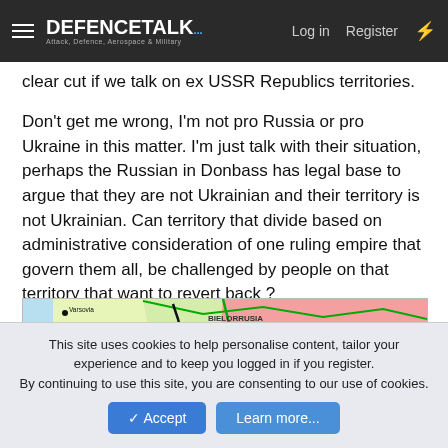DEFENCETALK — Log in  Register
clear cut if we talk on ex USSR Republics territories.
Don't get me wrong, I'm not pro Russia or pro Ukraine in this matter. I'm just talk with their situation, perhaps the Russian in Donbass has legal base to argue that they are not Ukrainian and their territory is not Ukrainian. Can territory that divide based on administrative consideration of one ruling empire that govern them all, be challenged by people on that territory that want to revert back ?
[Figure (map): Historical map showing regions of Soviet Russia, Ukraine (VOLIN, GALICIUG, Republica Nacional de Ucrania Occidental), Polonia, Bielorrusia, and Rusia Soviética with city labels including Varsovia, Brest, Gomel, Starodub, Kursk, Chelin, Luck, Lvov, Kiev, Poltava, Jarkov, Cosacos del Don. Green border lines and black boundary lines visible.]
This site uses cookies to help personalise content, tailor your experience and to keep you logged in if you register.
By continuing to use this site, you are consenting to our use of cookies.